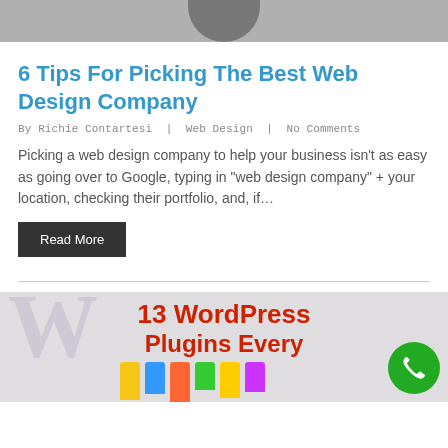[Figure (photo): Partial photo of a person, cropped at top showing shoulders/head against dark background]
6 Tips For Picking The Best Web Design Company
By Richie Contartesi | Web Design | No Comments
Picking a web design company to help your business isn’t as easy as going over to Google, typing in “web design company” + your location, checking their portfolio, and, if…
Read More
[Figure (illustration): Thumbnail image with WordPress logo watermark, red bold text reading '13 WordPress Plugins Every' with ethernet cables imagery in background]